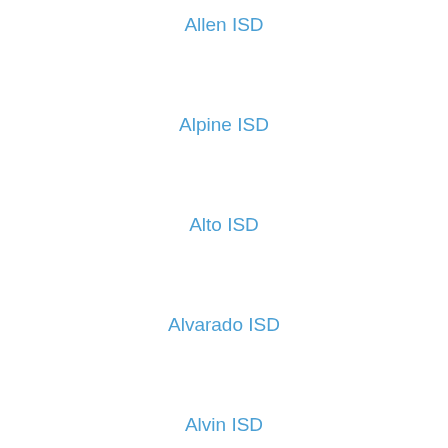Allen ISD
Alpine ISD
Alto ISD
Alvarado ISD
Alvin ISD
Alvord ISD
Amarillo ISD
Amherst ISD
Anahuac ISD
Anderson-Shiro CISD
Andrews ISD